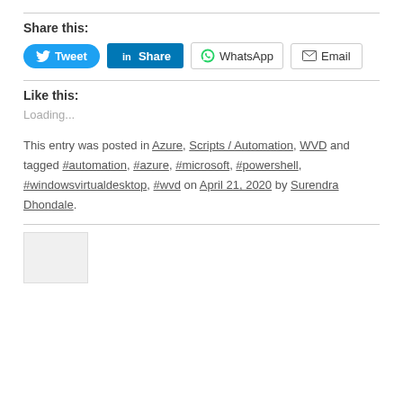Share this:
[Figure (other): Social share buttons: Tweet (Twitter), Share (LinkedIn), WhatsApp, Email]
Like this:
Loading...
This entry was posted in Azure, Scripts / Automation, WVD and tagged #automation, #azure, #microsoft, #powershell, #windowsvirtualdesktop, #wvd on April 21, 2020 by Surendra Dhondale.